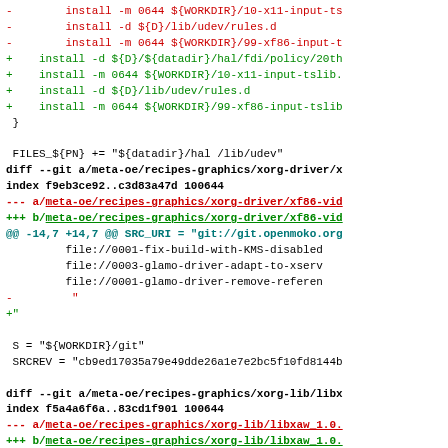diff patch code showing git diff output for meta-oe recipes-graphics xorg-driver and xorg-lib changes
- install -m 0644 ${WORKDIR}/10-x11-input-ts
- install -d ${D}/lib/udev/rules.d
- install -m 0644 ${WORKDIR}/99-xf86-input-t
+ install -d ${D}/${datadir}/hal/fdi/policy/20th
+ install -m 0644 ${WORKDIR}/10-x11-input-tslib.
+ install -d ${D}/lib/udev/rules.d
+ install -m 0644 ${WORKDIR}/99-xf86-input-tslib
 }

 FILES_${PN} += "${datadir}/hal /lib/udev"
diff --git a/meta-oe/recipes-graphics/xorg-driver/x
index f9eb3ce92..c3d83a47d 100644
--- a/meta-oe/recipes-graphics/xorg-driver/xf86-vid
+++ b/meta-oe/recipes-graphics/xorg-driver/xf86-vid
@@ -14,7 +14,7 @@ SRC_URI = "git://git.openmoko.org
         file://0001-fix-build-with-KMS-disabled
         file://0003-glamo-driver-adapt-to-xserv
         file://0001-glamo-driver-remove-referen
-         "
+"
S = "${WORKDIR}/git"
 SRCREV = "cb9ed17035a79e49dde26a1e7e2bc5f10fd8144b
diff --git a/meta-oe/recipes-graphics/xorg-lib/libx
index f5a4a6f6a..83cd1f901 100644
--- a/meta-oe/recipes-graphics/xorg-lib/libxaw_1.0.
+++ b/meta-oe/recipes-graphics/xorg-lib/libxaw_1.0.
@@ -14,9 +14,9 @@ SRC_URI[sha256sum] = "2d96bcf9263